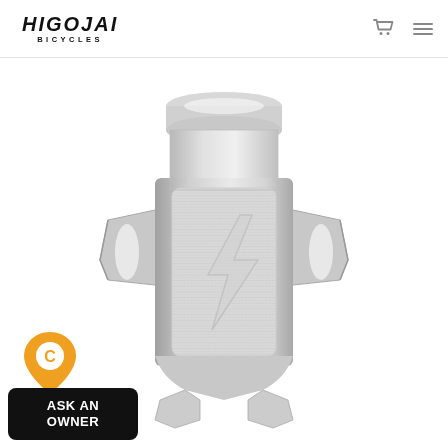HIGOJAI BICYCLES
[Figure (photo): Silver aluminum bicycle component (water bottle cage / stem clamp) with carbon fiber texture pattern and MIGOJAI lightning bolt logo embossed, featuring side bracket arms, photographed on white background]
ASK AN OWNER